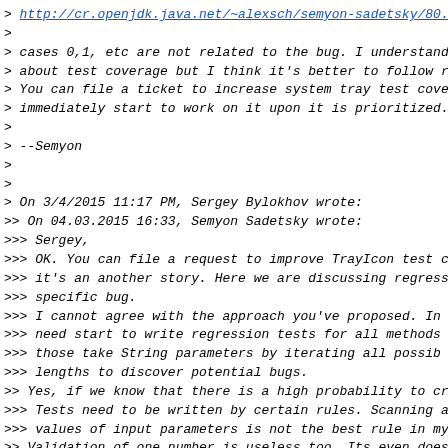> http://cr.openjdk.java.net/~alexsch/semyon-sadetsky/80...
> cases 0,1, etc are not related to the bug. I understand about test coverage but I think it's better to follow r... You can file a ticket to increase system tray test cove... immediately start to work on it upon it is prioritized.
> --Semyon
> On 3/4/2015 11:17 PM, Sergey Bylokhov wrote:
>> On 04.03.2015 16:33, Semyon Sadetsky wrote:
>>> Sergey,
>>> OK. You can file a request to improve TrayIcon test c... it's an another story. Here we are discussing regress... specific bug.
>>> I cannot agree with the approach you've proposed. In... need start to write regression tests for all methods... those take String parameters by iterating all possib... lengths to discover potential bugs.
>> Yes, if we know that there is a high probability to cr...
>>> Tests need to be written by certain rules. Scanning a... values of input parameters is not the best rule in my...
>> Validation of one number is useless too. Its even does... corner cases , 0,1,max-1,max,max+1. so the range is be...
>>>
>>> --Semyon
>>>
>>> On 3/4/2015 4:03 PM, Sergey Bylokhov wrote:
>>>> On 04.03.2015 15:08, Semyon Sadetsky wrote: